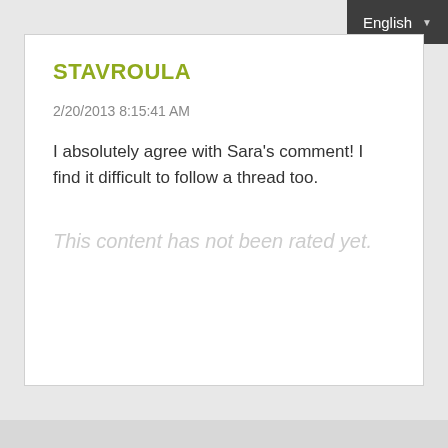English
STAVROULA
2/20/2013 8:15:41 AM
I absolutely agree with Sara's comment! I find it difficult to follow a thread too.
This content has not been rated yet.